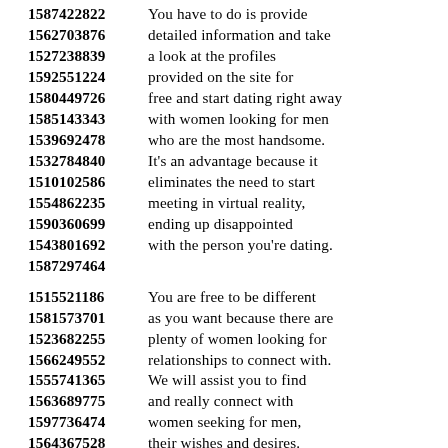1587422822 You have to do is provide
1562703876 detailed information and take
1527238839 a look at the profiles
1592551224 provided on the site for
1580449726 free and start dating right away
1585143343 with women looking for men
1539692478 who are the most handsome.
1532784840 It's an advantage because it
1510102586 eliminates the need to start
1554862235 meeting in virtual reality,
1590360699 ending up disappointed
1543801692 with the person you're dating.
1587297464
1515521186 You are free to be different
1581573701 as you want because there are
1523682255 plenty of women looking for
1566249552 relationships to connect with.
1555741365 We will assist you to find
1563689775 and really connect with
1597736474 women seeking for men,
1564367528 their wishes and desires.
1588298919 Dating site wants you to
1559221765 forget the past and try to
1594625607 sign up with our service
1567557679 to appreciate and enjoy